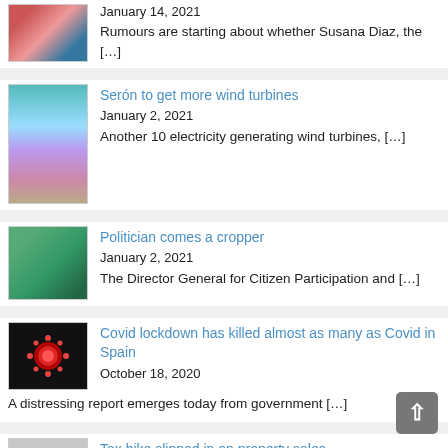[Figure (photo): Portrait photo of Susana Diaz]
January 14, 2021
Rumours are starting about whether Susana Diaz, the [...]
[Figure (photo): Offshore wind turbines]
Serón to get more wind turbines
January 2, 2021
Another 10 electricity generating wind turbines, [...]
[Figure (photo): Car crash / politician photo]
Politician comes a cropper
January 2, 2021
The Director General for Citizen Participation and [...]
[Figure (photo): Covid virus illustration on black background]
Covid lockdown has killed almost as many as Covid in Spain
October 18, 2020
A distressing report emerges today from government [...]
[Figure (photo): Property/tax related image (gray)]
Tax hike slipped in on property sales
October 14, 2020